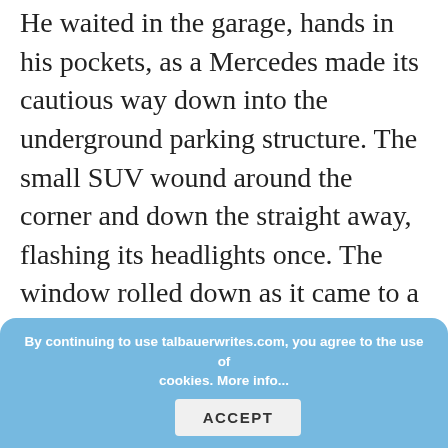He waited in the garage, hands in his pockets, as a Mercedes made its cautious way down into the underground parking structure. The small SUV wound around the corner and down the straight away, flashing its headlights once. The window rolled down as it came to a stop next to Ethan.
“Hi.” Senator Spiers smiled from the driver’s seat. “Is it… okay to stop here?”
“Did you bring a bomb with you? We’ve got a hidden b— will incinerate your vehicle on the spot if it senses any chemical
By continuing to use talbauerwrites.com, you agree to the use of cookies. More info...